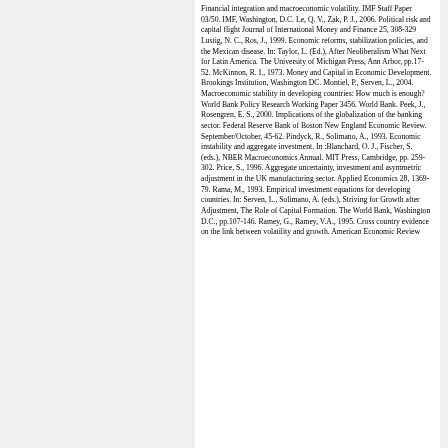Financial integration and macroeconomic volatility. IMF Staff Paper 03/50. IMF, Washington, D.C. Le, Q. V., Zak, P. J., 2006. Political risk and capital flight Journal of International Money and Finance 25, 308-329 Lustig, N. C., Ros, J., 1999. Economic reforms, stabilization policies, and the Mexican disease. In: Taylor, L. (Ed.), After Neoliberalism What Next for Latin America. The University of Michigan Press, Ann Arbor, pp.17-52. McKinnon, R. I., 1973. Money and Capital in Economic Development. Brookings Institution, Washington DC. Montiel, P., Serven, L., 2004. Macroeconomic stability in developing countries: How much is enough? World Bank Policy Research Working Paper 3456. World Bank. Peek, J., Rosengren, E. S., 2000. Implications of the globalization of the banking sector. Federal Reserve Bank of Boston New England Economic Review. September/October, 45-62. Pindyck, R., Solimano, A., 1993. Economic instability and aggregate investment. In :Blanchard, O. J., Fischer, S. (eds.), NBER Macroeconomics Annual. MIT Press, Cambridge, pp. 259-302. Price, S., 1996. Aggregate uncertainty, investment and asymmetric adjustment in the UK manufacturing sector. Applied Economics 28, 1369-79. Rama, M., 1993. Empirical investment equations for developing countries. In: Serven, L., Solimano, A. (eds.), Striving for Growth after Adjustment, The Role of Capital Formation. The World Bank, Washington D.C., pp.107-146. Ramey, G., Ramey, V.A., 1995. Cross country evidence on the link between volatility and growth. American Economic Review